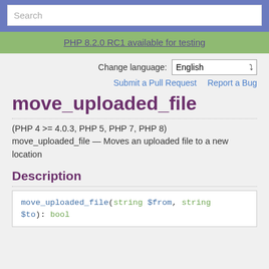Search
PHP 8.2.0 RC1 available for testing
Change language: English
Submit a Pull Request  Report a Bug
move_uploaded_file
(PHP 4 >= 4.0.3, PHP 5, PHP 7, PHP 8)
move_uploaded_file — Moves an uploaded file to a new location
Description
move_uploaded_file(string $from, string $to): bool